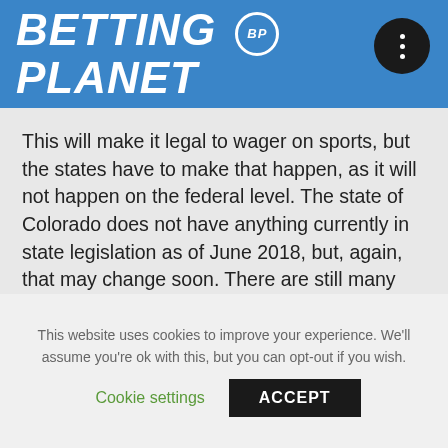BETTING BP PLANET
This will make it legal to wager on sports, but the states have to make that happen, as it will not happen on the federal level. The state of Colorado does not have anything currently in state legislation as of June 2018, but, again, that may change soon. There are still many options online for Colorado residents to bet on sports.
There are many legitimate online offshore sportsbooks that take wagers from people from the United States.
This website uses cookies to improve your experience. We'll assume you're ok with this, but you can opt-out if you wish.
Cookie settings   ACCEPT